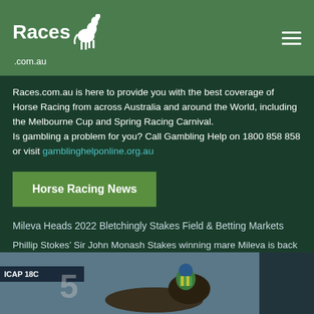Races.com.au
Races.com.au is here to provide you with the best coverage of Horse Racing from across Australia and around the World, including the Melbourne Cup and Spring Racing Carnival.
Is gambling a problem for you? Call Gambling Help on 1800 858 858 or visit gamblinghelponline.org.au
Horse Racing News
Mileva Heads 2022 Bletchingly Stakes Field & Betting Markets
Phillip Stokes’ Sir John Monash Stakes winning mare Mileva is back at Caulfield ...
[Figure (photo): Horse racing photo showing a jockey with green/yellow silks racing, with a race banner visible reading ICAP 18C]